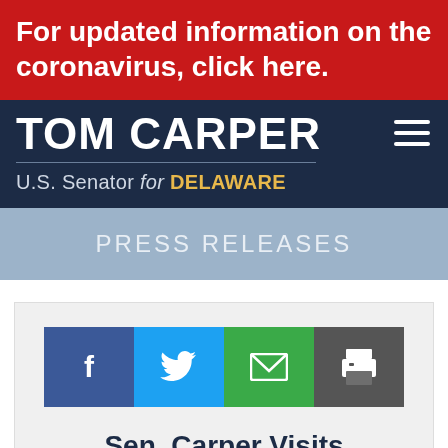For updated information on the coronavirus, click here.
TOM CARPER
U.S. Senator for DELAWARE
PRESS RELEASES
[Figure (infographic): Social share buttons: Facebook (blue), Twitter (light blue), Email (green), Print (dark gray)]
Sen. Carper Visits